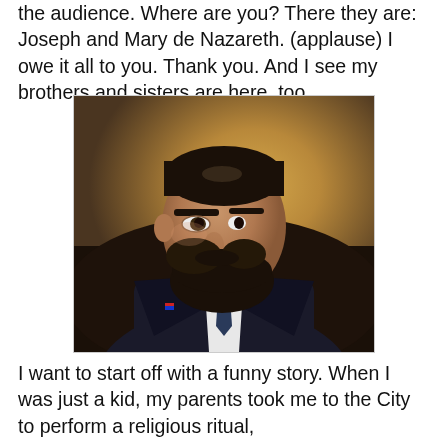the audience. Where are you? There they are: Joseph and Mary de Nazareth. (applause) I owe it all to you. Thank you. And I see my brothers and sisters are here, too.
[Figure (illustration): A painted portrait of a bearded man in a dark suit with a white shirt and dark tie, looking to his left, with a glowing warm background suggesting a religious or iconic style.]
I want to start off with a funny story. When I was just a kid, my parents took me to the City to perform a religious ritual,